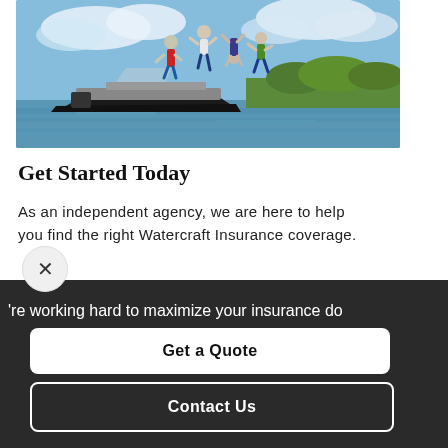[Figure (photo): People jumping off a speedboat into a lake/river on a sunny day with blue sky and green vegetation in background]
Get Started Today
As an independent agency, we are here to help you find the right Watercraft Insurance coverage.
're working hard to maximize your insurance do
Get a Quote
Contact Us